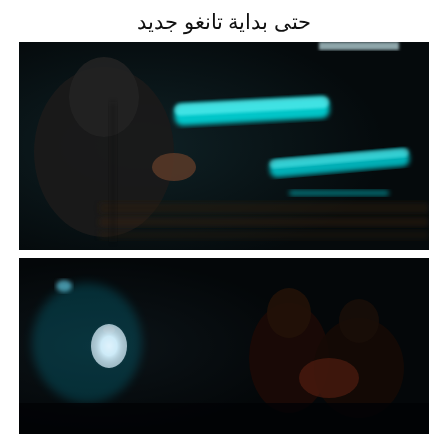حتى بداية تانغو جديد
[Figure (photo): A dark, motion-blurred photograph showing a person from behind in a dark room with glowing cyan/teal neon light streaks in the background, creating a dynamic blur effect.]
[Figure (photo): A dark photograph showing people in a dimly lit venue with a glowing white/cyan lamp on the left side and figures visible on the right side.]